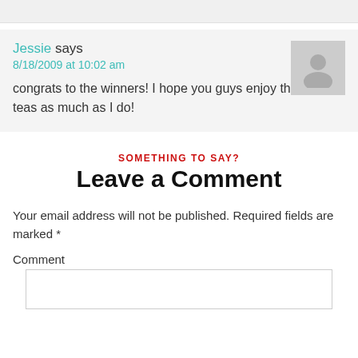Jessie says
8/18/2009 at 10:02 am
congrats to the winners! I hope you guys enjoy the tazo teas as much as I do!
SOMETHING TO SAY?
Leave a Comment
Your email address will not be published. Required fields are marked *
Comment